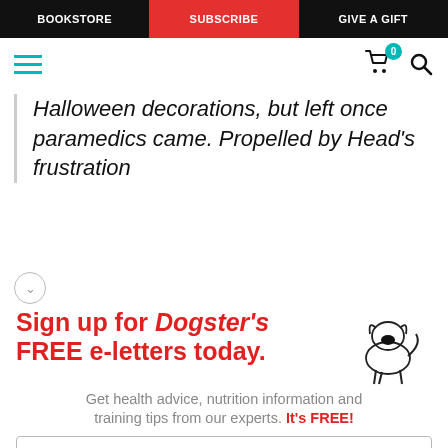BOOKSTORE | SUBSCRIBE | GIVE A GIFT
[Figure (screenshot): Navigation icons: hamburger menu in teal, cart with badge showing 0, and search icon]
Halloween decorations, but left once paramedics came. Propelled by Head's frustration
[Figure (illustration): Sign up for Dogster's FREE e-letters today. promotional box with cartoon dog illustration, email input field, and YES! SIGN ME UP button. Get health advice, nutrition information and training tips from our experts. It's FREE!]